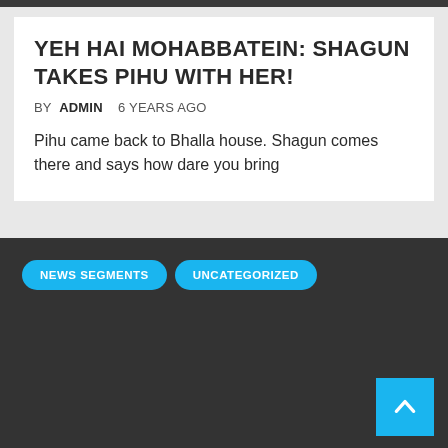YEH HAI MOHABBATEIN: SHAGUN TAKES PIHU WITH HER!
BY ADMIN   6 YEARS AGO
Pihu came back to Bhalla house. Shagun comes there and says how dare you bring
NEWS SEGMENTS
UNCATEGORIZED